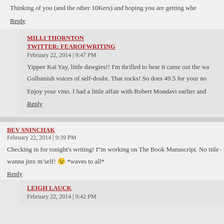Thinking of you (and the other 10Kers) and hoping you are getting whe
Reply
MILLI THORNTON
TWITTER: FEAROFWRITING
February 22, 2014 | 9:47 PM
Yippee Kai Yay, little dawgies!! I'm thrilled to hear it came out the wa... Gollumish voices of self-doubt. That rocks! So does 49.5 for your no
Enjoy your vino. I had a little affair with Robert Mondavi earlier and
Reply
BEV SNINCHAK
February 22, 2014 | 9:39 PM
Checking in for tonight's writing! I"m working on The Book Manuscript. No title c... wanna jinx m'self! 😉 *waves to all*
Reply
LEIGH LAUCK
February 22, 2014 | 9:42 PM